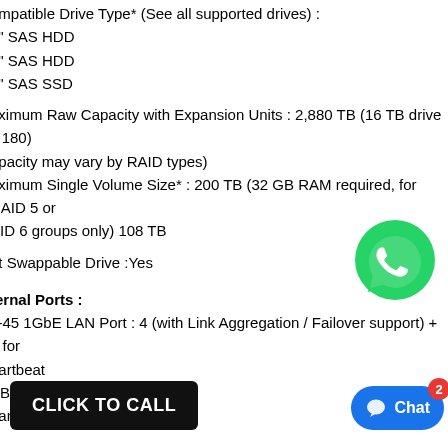Compatible Drive Type* (See all supported drives) :
3.5" SAS HDD
2.5" SAS HDD
2.5" SAS SSD
Maximum Raw Capacity with Expansion Units : 2,880 TB (16 TB drive x 180) (Capacity may vary by RAID types)
Maximum Single Volume Size* : 200 TB (32 GB RAM required, for RAID 5 or RAID 6 groups only) 108 TB
Hot Swappable Drive :Yes
[Figure (logo): WhatsApp logo - green circle with white phone icon]
External Ports :
RJ-45 1GbE LAN Port : 4 (with Link Aggregation / Failover support) + 1 for heartbeat
USB 3.0 Port : 2
Expansion Port : 1
PCIe :
PCIe Expansion : 1 x Gen3 x8 slot (x8 link)
Add-in Network Interface Card (Learn more)
File System :